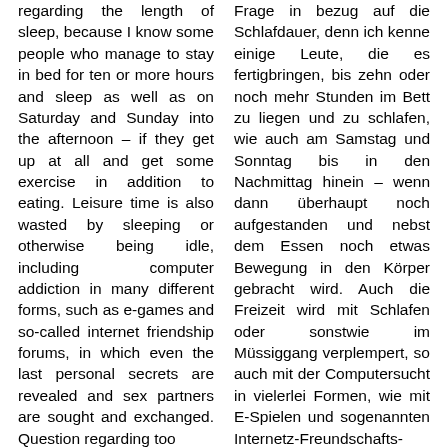regarding the length of sleep, because I know some people who manage to stay in bed for ten or more hours and sleep as well as on Saturday and Sunday into the afternoon – if they get up at all and get some exercise in addition to eating. Leisure time is also wasted by sleeping or otherwise being idle, including computer addiction in many different forms, such as e-games and so-called internet friendship forums, in which even the last personal secrets are revealed and sex partners are sought and exchanged. Question regarding too
Frage in bezug auf die Schlafdauer, denn ich kenne einige Leute, die es fertigbringen, bis zehn oder noch mehr Stunden im Bett zu liegen und zu schlafen, wie auch am Samstag und Sonntag bis in den Nachmittag hinein – wenn dann überhaupt noch aufgestanden und nebst dem Essen noch etwas Bewegung in den Körper gebracht wird. Auch die Freizeit wird mit Schlafen oder sonstwie im Müssiggang verplempert, so auch mit der Computersucht in vielerlei Formen, wie mit E-Spielen und sogenannten Internetz-Freundschafts-